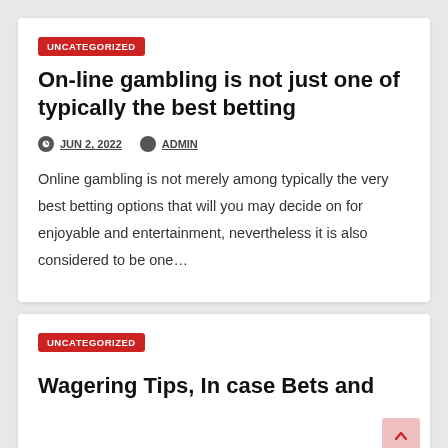UNCATEGORIZED
On-line gambling is not just one of typically the best betting
JUN 2, 2022  ADMIN
Online gambling is not merely among typically the very best betting options that will you may decide on for enjoyable and entertainment, nevertheless it is also considered to be one…
UNCATEGORIZED
Wagering Tips, In case Bets and